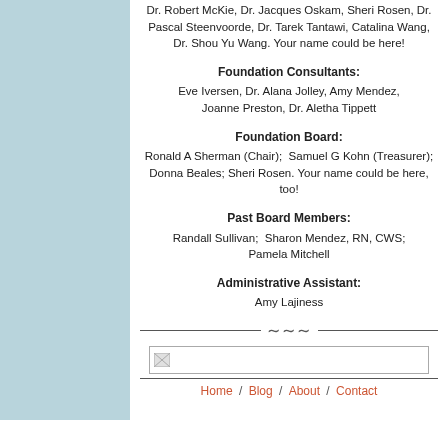Dr. Robert McKie, Dr. Jacques Oskam, Sheri Rosen, Dr. Pascal Steenvoorde, Dr. Tarek Tantawi, Catalina Wang, Dr. Shou Yu Wang. Your name could be here!
Foundation Consultants:
Eve Iversen, Dr. Alana Jolley, Amy Mendez, Joanne Preston, Dr. Aletha Tippett
Foundation Board:
Ronald A Sherman (Chair);  Samuel G Kohn (Treasurer); Donna Beales; Sheri Rosen. Your name could be here, too!
Past Board Members:
Randall Sullivan;  Sharon Mendez, RN, CWS; Pamela Mitchell
Administrative Assistant:
Amy Lajiness
[Figure (illustration): Decorative divider with wavy ornament between two horizontal lines]
[Figure (photo): Broken/missing image placeholder]
Home / Blog / About / Contact